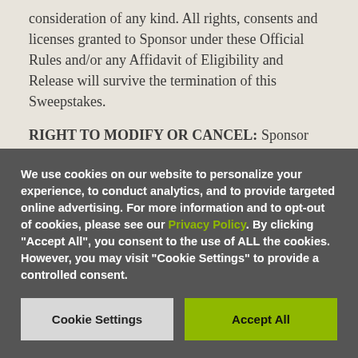consideration of any kind. All rights, consents and licenses granted to Sponsor under these Official Rules and/or any Affidavit of Eligibility and Release will survive the termination of this Sweepstakes.
RIGHT TO MODIFY OR CANCEL: Sponsor may cancel, suspend or modify the Sweepstakes or any part of it, in any way, if Sponsor determines in its sole discretion that the Sweepstakes
We use cookies on our website to personalize your experience, to conduct analytics, and to provide targeted online advertising. For more information and to opt-out of cookies, please see our Privacy Policy. By clicking "Accept All", you consent to the use of ALL the cookies. However, you may visit "Cookie Settings" to provide a controlled consent.